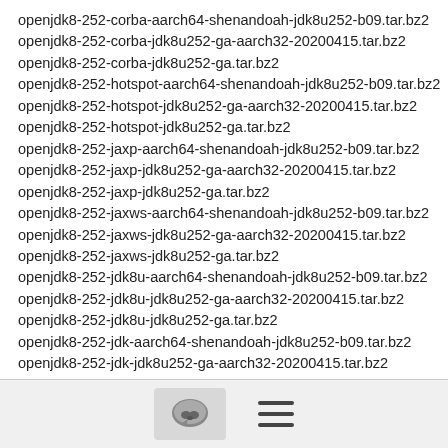openjdk8-252-corba-aarch64-shenandoah-jdk8u252-b09.tar.bz2
openjdk8-252-corba-jdk8u252-ga-aarch32-20200415.tar.bz2
openjdk8-252-corba-jdk8u252-ga.tar.bz2
openjdk8-252-hotspot-aarch64-shenandoah-jdk8u252-b09.tar.bz2
openjdk8-252-hotspot-jdk8u252-ga-aarch32-20200415.tar.bz2
openjdk8-252-hotspot-jdk8u252-ga.tar.bz2
openjdk8-252-jaxp-aarch64-shenandoah-jdk8u252-b09.tar.bz2
openjdk8-252-jaxp-jdk8u252-ga-aarch32-20200415.tar.bz2
openjdk8-252-jaxp-jdk8u252-ga.tar.bz2
openjdk8-252-jaxws-aarch64-shenandoah-jdk8u252-b09.tar.bz2
openjdk8-252-jaxws-jdk8u252-ga-aarch32-20200415.tar.bz2
openjdk8-252-jaxws-jdk8u252-ga.tar.bz2
openjdk8-252-jdk8u-aarch64-shenandoah-jdk8u252-b09.tar.bz2
openjdk8-252-jdk8u-jdk8u252-ga-aarch32-20200415.tar.bz2
openjdk8-252-jdk8u-jdk8u252-ga.tar.bz2
openjdk8-252-jdk-aarch64-shenandoah-jdk8u252-b09.tar.bz2
openjdk8-252-jdk-jdk8u252-ga-aarch32-20200415.tar.bz2
openjdk8-252-jdk-jdk8u252-ga.tar.bz2
openjdk8-252-langtools-aarch64-shenandoah-jdk8u252-